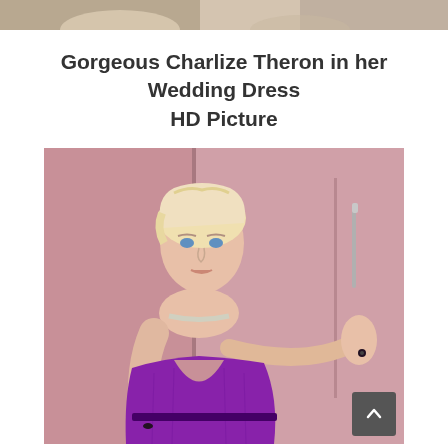[Figure (photo): Partial top strip of a photo — cropped image visible at very top of page]
Gorgeous Charlize Theron in her Wedding Dress HD Picture
[Figure (photo): Charlize Theron in a deep-V purple strapless gown, with short blonde hair, posing against a pink wall background, wearing a silver choker necklace]